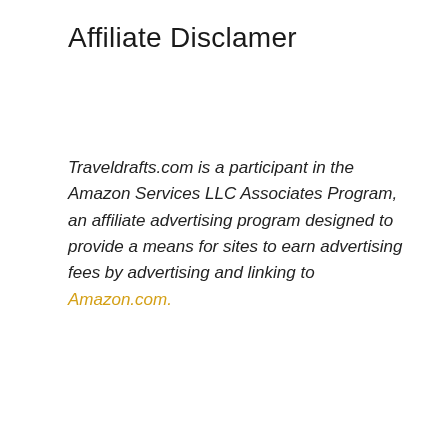Affiliate Disclamer
Traveldrafts.com is a participant in the Amazon Services LLC Associates Program, an affiliate advertising program designed to provide a means for sites to earn advertising fees by advertising and linking to Amazon.com.